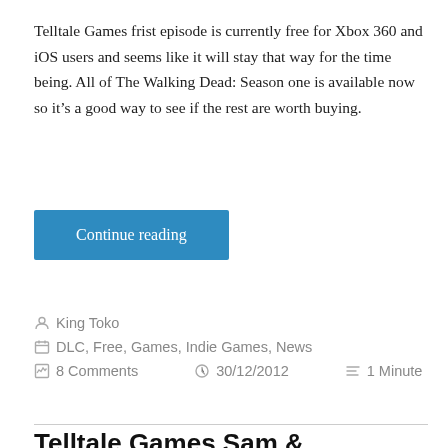Telltale Games frist episode is currently free for Xbox 360 and iOS users and seems like it will stay that way for the time being. All of The Walking Dead: Season one is available now so it's a good way to see if the rest are worth buying.
Continue reading
King Toko
DLC, Free, Games, Indie Games, News
8 Comments   30/12/2012   1 Minute
Telltale Games Sam &